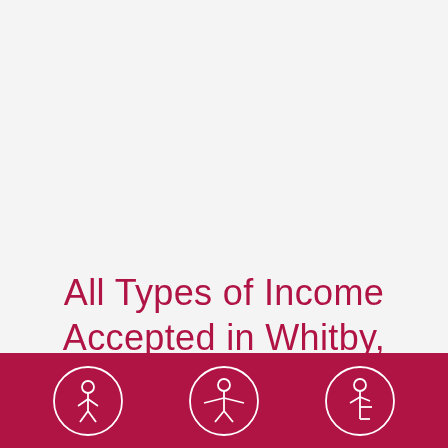All Types of Income Accepted in Whitby, Ontario.
[Figure (illustration): Red bar at bottom with three white outline icons in oval shapes representing different person types (individual, person with arms spread, seated person)]